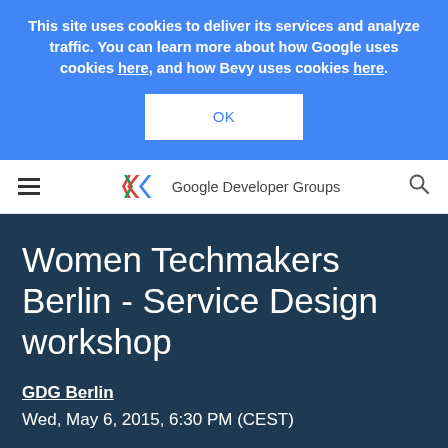This site uses cookies to deliver its services and analyze traffic. You can learn more about how Google uses cookies here, and how Bevy uses cookies here.
OK
[Figure (logo): Google Developer Groups logo with chevron brackets and text]
Women Techmakers Berlin - Service Design workshop
GDG Berlin
Wed, May 6, 2015, 6:30 PM (CEST)